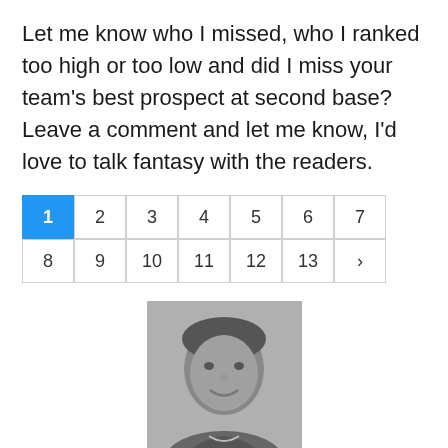Let me know who I missed, who I ranked too high or too low and did I miss your team's best prospect at second base? Leave a comment and let me know, I'd love to talk fantasy with the readers.
[Figure (other): Pagination widget with numbered page buttons 1-13 and a next arrow. Button 1 is highlighted in blue.]
[Figure (photo): Black and white headshot photo of Lawrence Doto, a young man smiling.]
Lawrence Doto
I love fantasy sports more than you love most things in life. I am great at giving fantasy advice because if it